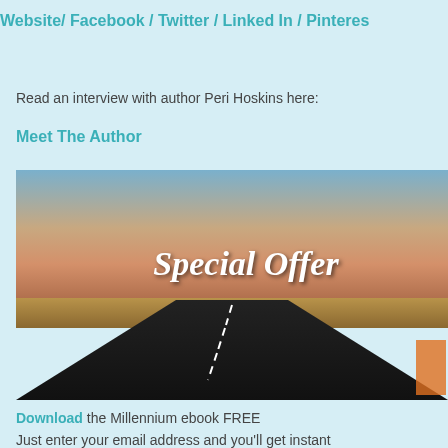Website/ Facebook / Twitter / Linked In / Pinterest
Read an interview with author Peri Hoskins here:
Meet The Author
[Figure (photo): Road at dusk with open flat landscape and sky; overlaid with text 'Special Offer' in white serif italic font.]
Download the Millennium ebook FREE
Just enter your email address and you'll get instant